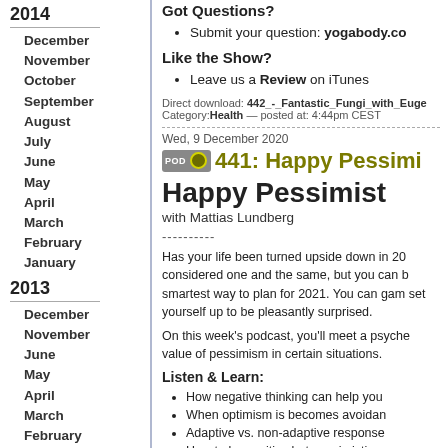2014
December
November
October
September
August
July
June
May
April
March
February
January
2013
December
November
June
May
April
March
February
January
2012
December
November
October
September
August
July
June
Got Questions?
Submit your question: yogabody.co
Like the Show?
Leave us a Review on iTunes
Direct download: 442_-_Fantastic_Fungi_with_Euge
Category:Health — posted at: 4:44pm CEST
Wed, 9 December 2020
441: Happy Pessimi...
Happy Pessimist
with Mattias Lundberg
----------
Has your life been turned upside down in 20... considered one and the same, but you can b... smartest way to plan for 2021. You can gam... set yourself up to be pleasantly surprised.
On this week's podcast, you'll meet a psyche... value of pessimism in certain situations.
Listen & Learn:
How negative thinking can help you...
When optimism is becomes avoidar...
Adaptive vs. non-adaptive response...
How to be positive but pessimistic a...
Links & Resources: